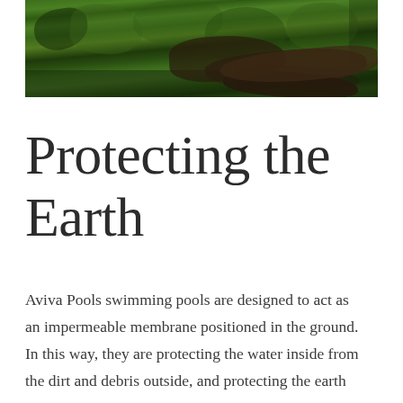[Figure (photo): Aerial view of lush green moss-covered land with a dark river or water body visible below, viewed from above]
Protecting the Earth
Aviva Pools swimming pools are designed to act as an impermeable membrane positioned in the ground. In this way, they are protecting the water inside from the dirt and debris outside, and protecting the earth